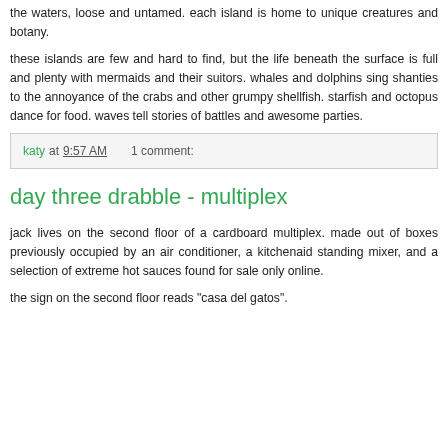the waters, loose and untamed. each island is home to unique creatures and botany.
these islands are few and hard to find, but the life beneath the surface is full and plenty with mermaids and their suitors. whales and dolphins sing shanties to the annoyance of the crabs and other grumpy shellfish. starfish and octopus dance for food. waves tell stories of battles and awesome parties.
katy at 9:57 AM    1 comment:
day three drabble - multiplex
jack lives on the second floor of a cardboard multiplex. made out of boxes previously occupied by an air conditioner, a kitchenaid standing mixer, and a selection of extreme hot sauces found for sale only online.
the sign on the second floor reads "casa del gatos".